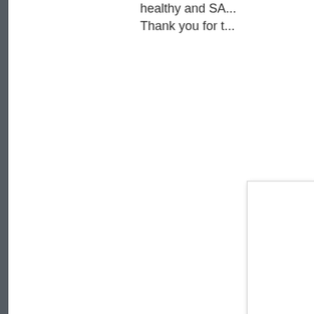healthy and SA...
Thank you for t...
[Figure (photo): White rectangular image/photo box with shadow, partially visible on right side of page]
When music appreci...